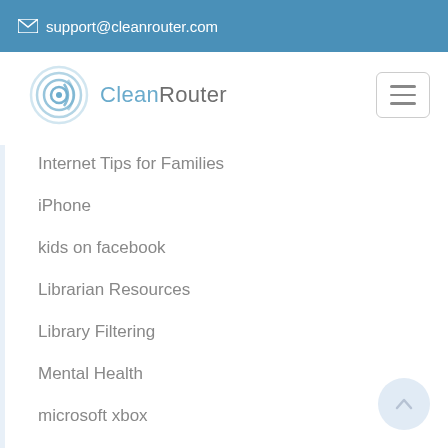✉ support@cleanrouter.com
[Figure (logo): CleanRouter logo with circular WiFi icon and text 'CleanRouter']
Internet Tips for Families
iPhone
kids on facebook
Librarian Resources
Library Filtering
Mental Health
microsoft xbox
Mobile Support
Netflix